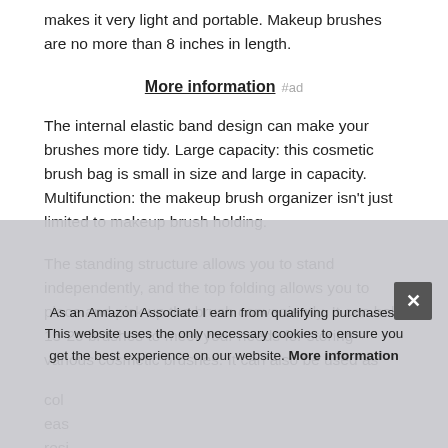makes it very light and portable. Makeup brushes are no more than 8 inches in length.
More information #ad
The internal elastic band design can make your brushes more tidy. Large capacity: this cosmetic brush bag is small in size and large in capacity. Multifunction: the makeup brush organizer isn't just limited to makeup brush holding.
The standing structure allows you to stand independently, and the top folding allows you to place and pick up the brush conveniently. It can hold 15-20 brushes to meet your needs for storing various cosmetic brushes. It can also be used as col... eas... resi... pen...
As an Amazon Associate I earn from qualifying purchases. This website uses the only necessary cookies to ensure you get the best experience on our website. More information